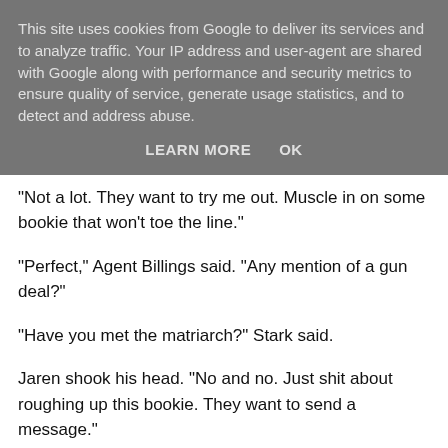This site uses cookies from Google to deliver its services and to analyze traffic. Your IP address and user-agent are shared with Google along with performance and security metrics to ensure quality of service, generate usage statistics, and to detect and address abuse.
LEARN MORE    OK
"Not a lot. They want to try me out. Muscle in on some bookie that won't toe the line."
"Perfect," Agent Billings said. "Any mention of a gun deal?"
"Have you met the matriarch?" Stark said.
Jaren shook his head. "No and no. Just shit about roughing up this bookie. They want to send a message."
"Then send it," Stark said. "Do whatever they tell you."
Jaren laughed again.